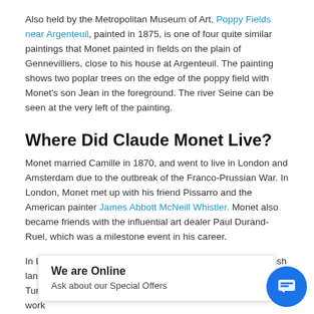Also held by the Metropolitan Museum of Art, Poppy Fields near Argenteuil, painted in 1875, is one of four quite similar paintings that Monet painted in fields on the plain of Gennevilliers, close to his house at Argenteuil. The painting shows two poplar trees on the edge of the poppy field with Monet's son Jean in the foreground. The river Seine can be seen at the very left of the painting.
Where Did Claude Monet Live?
Monet married Camille in 1870, and went to live in London and Amsterdam due to the outbreak of the Franco-Prussian War. In London, Monet met up with his friend Pissarro and the American painter James Abbott McNeill Whistler. Monet also became friends with the influential art dealer Paul Durand-Ruel, which was a milestone event in his career.
In London, Monet admired the paintings he saw by the English landscape ar... Turner. Monet was particular... li... and in particular Turn... Thames. There is no doubt that this feature of Turner's work